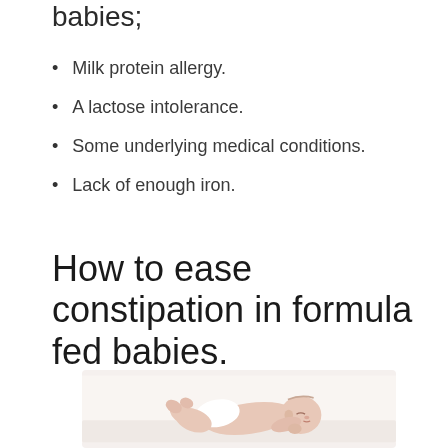babies;
Milk protein allergy.
A lactose intolerance.
Some underlying medical conditions.
Lack of enough iron.
How to ease constipation in formula fed babies.
[Figure (photo): Newborn baby sleeping on its stomach wearing a white diaper on a white surface]